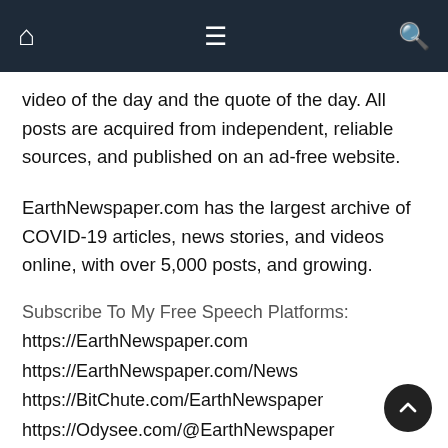Navigation bar with home, menu, and search icons
video of the day and the quote of the day. All posts are acquired from independent, reliable sources, and published on an ad-free website.
EarthNewspaper.com has the largest archive of COVID-19 articles, news stories, and videos online, with over 5,000 posts, and growing.
Subscribe To My Free Speech Platforms:
https://EarthNewspaper.com
https://EarthNewspaper.com/News
https://BitChute.com/EarthNewspaper
https://Odysee.com/@EarthNewspaper
https://Gab.com/EarthNewspaper
https://SubscribeStar.com/EarthNewspaper